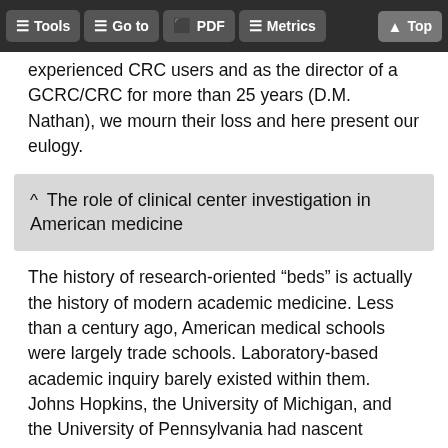Tools  Go to  PDF  Metrics  Top
experienced CRC users and as the director of a GCRC/CRC for more than 25 years (D.M. Nathan), we mourn their loss and here present our eulogy.
^ The role of clinical center investigation in American medicine
The history of research-oriented “beds” is actually the history of modern academic medicine. Less than a century ago, American medical schools were largely trade schools. Laboratory-based academic inquiry barely existed within them. Johns Hopkins, the University of Michigan, and the University of Pennsylvania had nascent academic programs that were carried out largely by pathologists. Americans